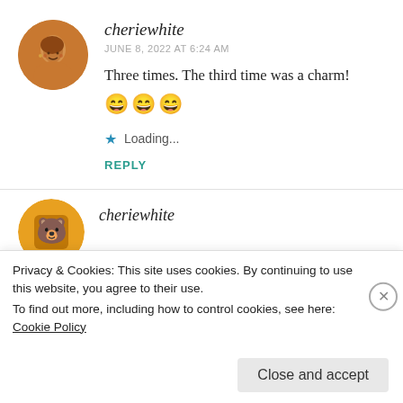cheriewhite
JUNE 8, 2022 AT 6:24 AM
Three times. The third time was a charm! 😄😄😄
★ Loading...
REPLY
Privacy & Cookies: This site uses cookies. By continuing to use this website, you agree to their use.
To find out more, including how to control cookies, see here: Cookie Policy
Close and accept